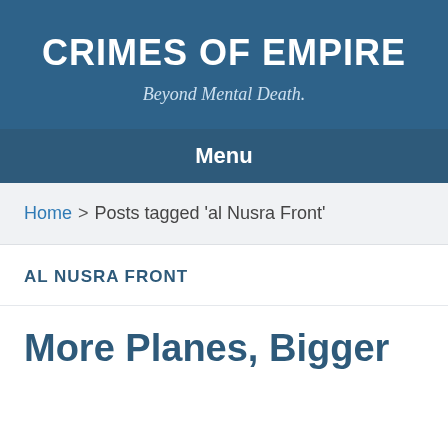CRIMES OF EMPIRE
Beyond Mental Death.
Menu
Home > Posts tagged 'al Nusra Front'
AL NUSRA FRONT
More Planes, Bigger